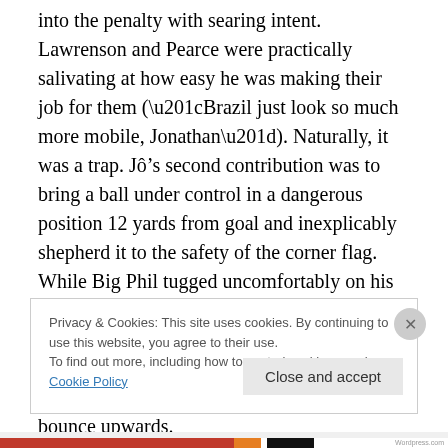into the penalty with searing intent. Lawrenson and Pearce were practically salivating at how easy he was making their job for them (“Brazil just look so much more mobile, Jonathan”). Naturally, it was a trap. Jô’s second contribution was to bring a ball under control in a dangerous position 12 yards from goal and inexplicably shepherd it to the safety of the corner flag. While Big Phil tugged uncomfortably on his branded polo shirt, a third opportunity quickly followed. Clean through on goal, Jô shanked the ball so hard into the ground that it somehow managed to start a ground level and bounce upwards.
Privacy & Cookies: This site uses cookies. By continuing to use this website, you agree to their use.
To find out more, including how to control cookies, see here: Cookie Policy